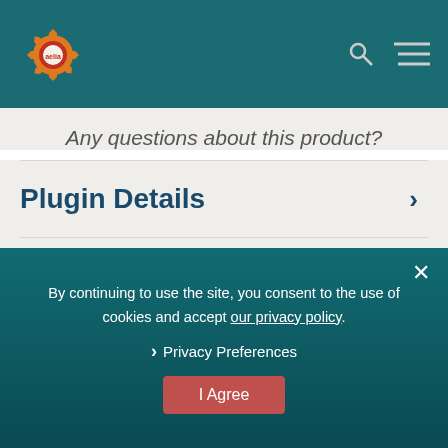Aelia - Plugin Details | Requirements | Change Log
Any questions about this product?
Plugin Details
Requirements
Change Log
By continuing to use the site, you consent to the use of cookies and accept our privacy policy.
Privacy Preferences
I Agree